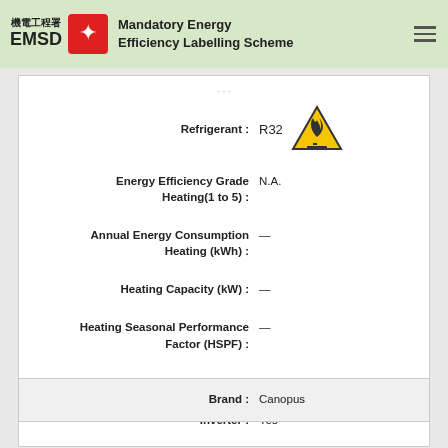機電工程署 EMSD — Mandatory Energy Efficiency Labelling Scheme
Refrigerant : R32
Energy Efficiency Grade Heating(1 to 5) : N.A.
Annual Energy Consumption Heating (kWh) : —
Heating Capacity (kW) : —
Heating Seasonal Performance Factor (HSPF) : —
InformationProvider : Century Carrier Co Ltd.
Inverter : Yes
Brand : Canopus